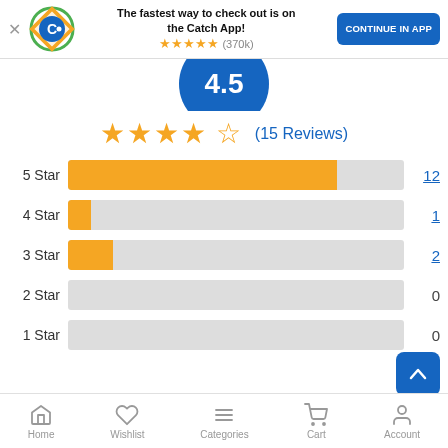[Figure (screenshot): App banner with Catch logo, text 'The fastest way to check out is on the Catch App!', star rating (370k reviews), and CONTINUE IN APP button]
[Figure (other): Blue circle showing score 4.5 (partially visible, cut off at top)]
[Figure (bar-chart): Star ratings breakdown]
[Figure (other): Bottom navigation bar with Home, Wishlist, Categories, Cart, Account icons]